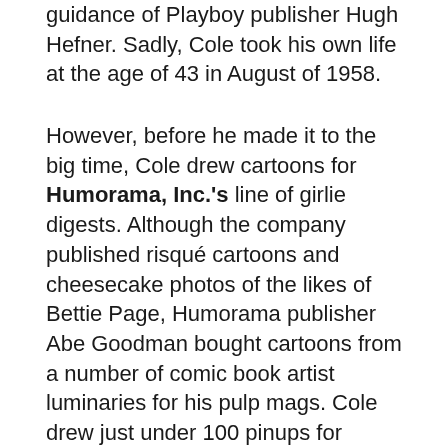guidance of Playboy publisher Hugh Hefner. Sadly, Cole took his own life at the age of 43 in August of 1958.
However, before he made it to the big time, Cole drew cartoons for Humorama, Inc.'s line of girlie digests. Although the company published risqué cartoons and cheesecake photos of the likes of Bettie Page, Humorama publisher Abe Goodman bought cartoons from a number of comic book artist luminaries for his pulp mags. Cole drew just under 100 pinups for Humorama, and THE CLASSIC PIN-UP ART OF JACK COLE collects the best of the lot.
A few of the cartoons here were drawn with